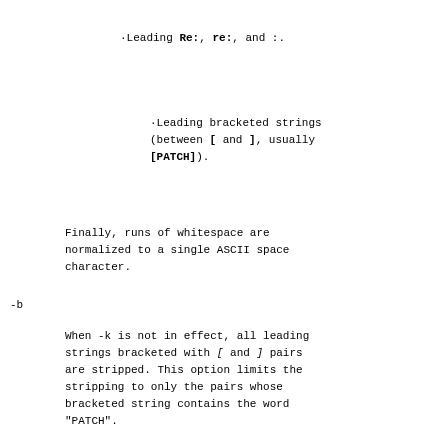·Leading Re:, re:, and :.
·Leading bracketed strings (between [ and ], usually [PATCH]).
Finally, runs of whitespace are normalized to a single ASCII space character.
-b
When -k is not in effect, all leading strings bracketed with [ and ] pairs are stripped. This option limits the stripping to only the pairs whose bracketed string contains the word "PATCH".